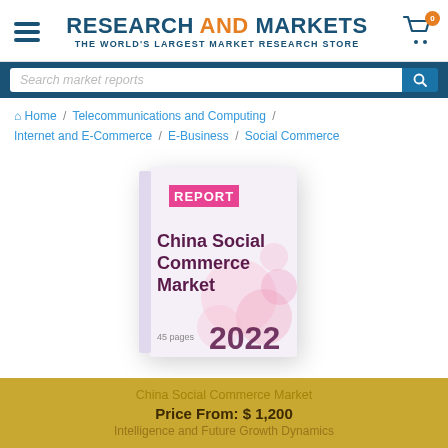RESEARCH AND MARKETS — THE WORLD'S LARGEST MARKET RESEARCH STORE
Search market reports
Home / Telecommunications and Computing / Internet and E-Commerce / E-Business / Social Commerce
[Figure (photo): Book cover image: 'China Social Commerce Market' report, 45 pages, 2022, with pink floral design and REPORT banner]
China Social Commerce Market
Price From: $1,200
Intelligence and Future Growth Dynamics